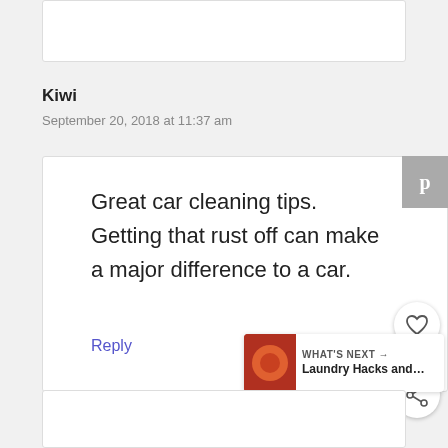Kiwi
September 20, 2018 at 11:37 am
Great car cleaning tips. Getting that rust off can make a major difference to a car.
Reply